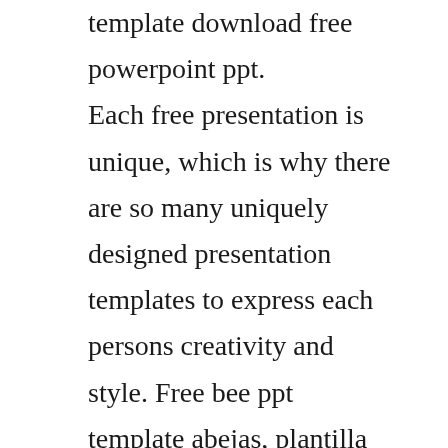template download free powerpoint ppt. Each free presentation is unique, which is why there are so many uniquely designed presentation templates to express each persons creativity and style. Free bee ppt template abejas, plantilla powerpoint, temas. It is ashift in wind thatoccurs due to achange in localweather. Discovering and getting the most related and suitable powerpoint templates are as simple as few clicks. Today, i along with 45 members of my team members and their families from finance department of yguard industries limited, kochi visited mango